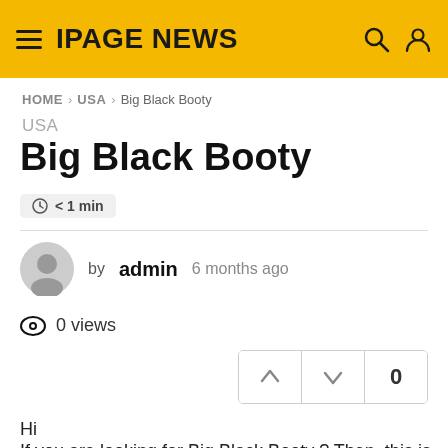IPAGE NEWS
HOME > USA > Big Black Booty
USA
Big Black Booty
< 1 min
by admin  6 months ago
0 views
0
Hi
If you are looking for Big Black Booty ? Then, this is the place where you can find some sources which